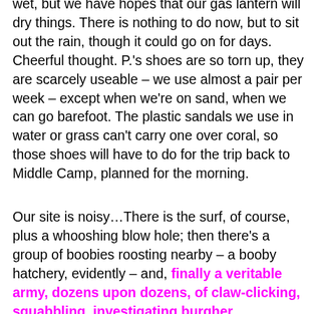wet, but we have hopes that our gas lantern will dry things. There is nothing to do now, but to sit out the rain, though it could go on for days. Cheerful thought. P.'s shoes are so torn up, they are scarcely useable – we use almost a pair per week – except when we're on sand, when we can go barefoot. The plastic sandals we use in water or grass can't carry one over coral, so those shoes will have to do for the trip back to Middle Camp, planned for the morning.
Our site is noisy…There is the surf, of course, plus a whooshing blow hole; then there's a group of boobies roosting nearby – a booby hatchery, evidently – and, finally a veritable army, dozens upon dozens, of claw-clicking, squabbling, investigating burgher crabs.They are enormous, 20 centimeter diameter in some cases, and steal anything they can carry, including our